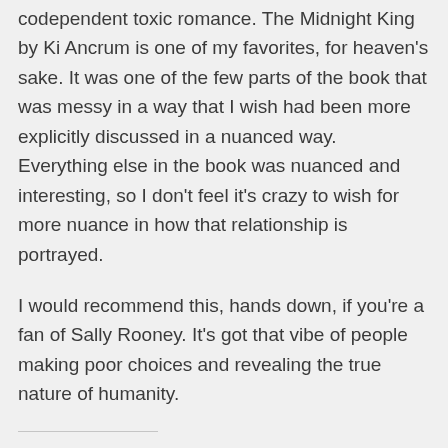codependent toxic romance. The Midnight King by Ki Ancrum is one of my favorites, for heaven's sake. It was one of the few parts of the book that was messy in a way that I wish had been more explicitly discussed in a nuanced way. Everything else in the book was nuanced and interesting, so I don't feel it's crazy to wish for more nuance in how that relationship is portrayed.

I would recommend this, hands down, if you're a fan of Sally Rooney. It's got that vibe of people making poor choices and revealing the true nature of humanity.
Share this:
Twitter   Facebook